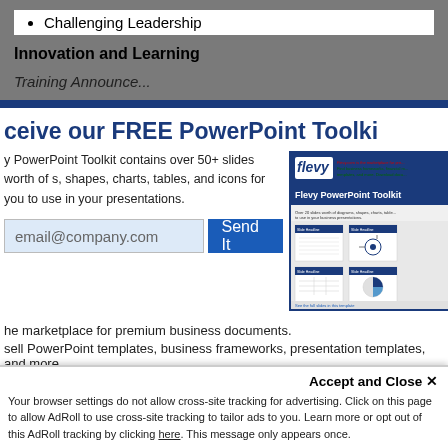Challenging Leadership
Innovation and Learning
Training Announce...
ceive our FREE PowerPoint Toolki
y PowerPoint Toolkit contains over 50+ slides worth of s, shapes, charts, tables, and icons for you to use in your presentations.
[Figure (screenshot): Flevy PowerPoint Toolkit preview showing the Flevy logo and toolkit slides]
email@company.com   Send It
he marketplace for premium business documents.
sell PowerPoint templates, business frameworks, presentation templates, and more.
Accept and Close ✕
Your browser settings do not allow cross-site tracking for advertising. Click on this page to allow AdRoll to use cross-site tracking to tailor ads to you. Learn more or opt out of this AdRoll tracking by clicking here. This message only appears once.